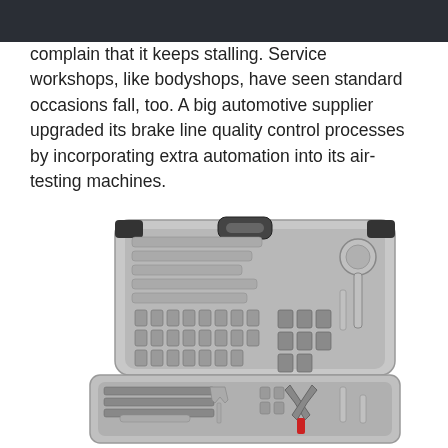complain that it keeps stalling. Service workshops, like bodyshops, have seen standard occasions fall, too. A big automotive supplier upgraded its brake line quality control processes by incorporating extra automation into its air-testing machines.
[Figure (photo): An open automotive tool kit case containing wrenches, sockets, a ratchet handle, pliers, screwdrivers, and various other tools arranged in molded gray plastic compartments.]